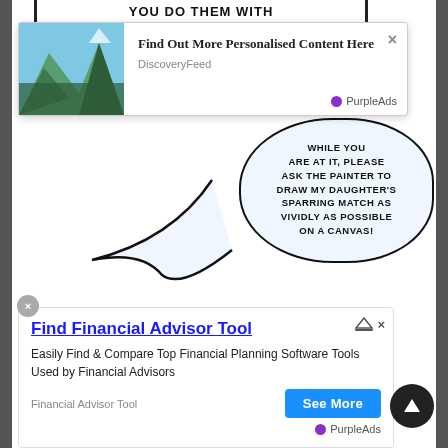[Figure (screenshot): Comic/manga webpage screenshot with two advertisement overlays. Top portion shows partial comic text 'YOU DO THEM WITH A PAINTER? DON'T'. A discovery feed ad overlays top with mountain landscape image and text 'Find Out More Personalised Content Here' by DiscoveryFeed / PurpleAds. Comic speech bubble reads 'WHILE YOU ARE AT IT, PLEASE ASK THE PAINTER TO DRAW MY DAUGHTER'S SPARRING MATCH AS VIVIDLY AS POSSIBLE ON A CANVAS!'. Bottom ad shows 'Find Financial Advisor Tool' with text 'Easily Find & Compare Top Financial Planning Software Tools Used by Financial Advisors', source 'Financial Advisor Tool', and 'See More' button by PurpleAds. Scroll-up button bottom right.]